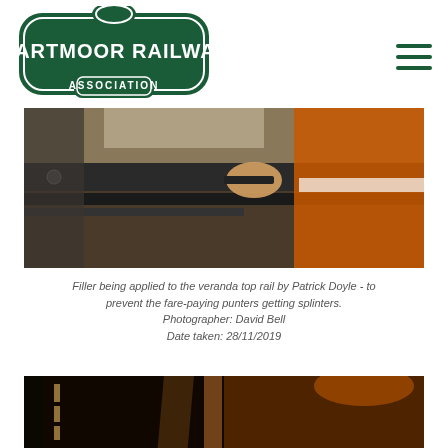[Figure (logo): Dartmoor Railway Association logo — green rounded rectangle with white text]
[Figure (photo): Close-up photograph of filler being applied to a veranda top rail by Patrick Doyle, person wearing orange hi-vis vest]
Filler being applied to the veranda top rail by Patrick Doyle - to prevent the fare-paying punters getting splinters.
Photographer: David Bell
Date taken: 28/11/2019
[Figure (photo): Dark photograph of railway carriage interior/exterior, low-light workshop scene]